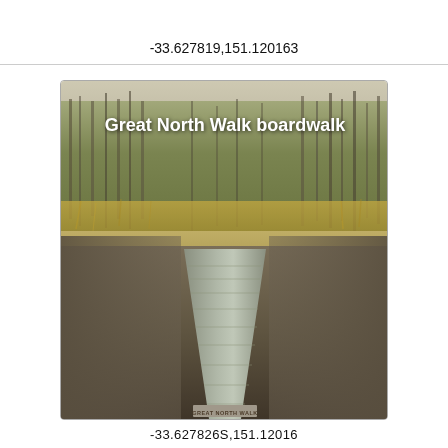-33.627819,151.120163
[Figure (photo): Outdoor photo showing a wooden boardwalk (Great North Walk) extending into the distance through wetland grasses and eucalyptus/pine forest. White bold text overlay reads 'Great North Walk boardwalk'. Sign at base of boardwalk reads 'GREAT NORTH WALK'.]
-33.627826S,151.12016